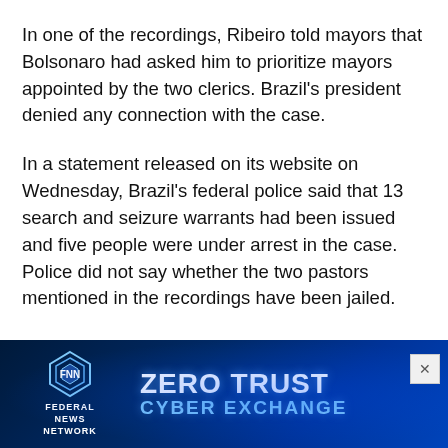In one of the recordings, Ribeiro told mayors that Bolsonaro had asked him to prioritize mayors appointed by the two clerics. Brazil's president denied any connection with the case.
In a statement released on its website on Wednesday, Brazil's federal police said that 13 search and seizure warrants had been issued and five people were under arrest in the case. Police did not say whether the two pastors mentioned in the recordings have been jailed.
Conservative lawmaker Marco Feliciano, a close ally of Bolsonaro's and an Evangelical pastor himself...
[Figure (other): Advertisement banner for Federal News Network - Zero Trust Cyber Exchange, dark blue background with logo and text]